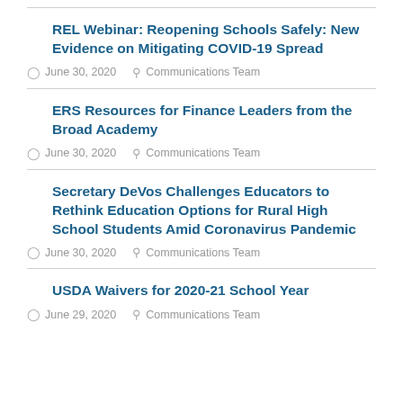REL Webinar: Reopening Schools Safely: New Evidence on Mitigating COVID-19 Spread
June 30, 2020   Communications Team
ERS Resources for Finance Leaders from the Broad Academy
June 30, 2020   Communications Team
Secretary DeVos Challenges Educators to Rethink Education Options for Rural High School Students Amid Coronavirus Pandemic
June 30, 2020   Communications Team
USDA Waivers for 2020-21 School Year
June 29, 2020   Communications Team